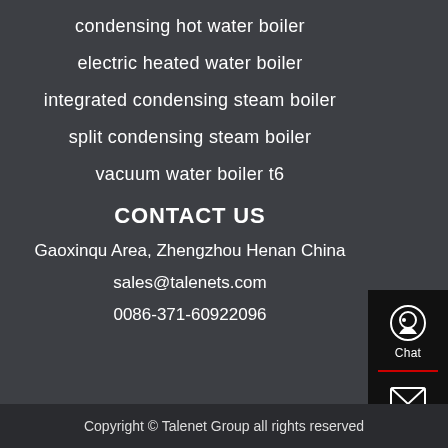condensing hot water boiler
electric heated water boiler
integrated condensing steam boiler
split condensing steam boiler
vacuum water boiler t6
CONTACT US
Gaoxinqu Area, Zhengzhou Henan China
sales@talenets.com
0086-371-60922096
[Figure (infographic): Sidebar with Chat, Email, and Contact icons on black background with red dividers]
Copyright © Talenet Group all rights reserved